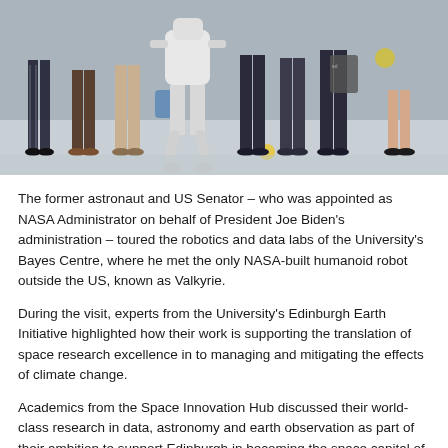[Figure (photo): Group photo of people standing with a white humanoid robot (Valkyrie) in a lab setting. Multiple individuals of various dress styles are visible, standing on a light-coloured floor.]
The former astronaut and US Senator – who was appointed as NASA Administrator on behalf of President Joe Biden's administration – toured the robotics and data labs of the University's Bayes Centre, where he met the only NASA-built humanoid robot outside the US, known as Valkyrie.
During the visit, experts from the University's Edinburgh Earth Initiative highlighted how their work is supporting the translation of space research excellence in to managing and mitigating the effects of climate change.
Academics from the Space Innovation Hub discussed their world-class research in data, astronomy and earth observation as part of their ambition to support Edinburgh in becoming the space capital of Europe.
Students from the University's Endeavour Rocket Society shared their work to challenge the stasis in British rocketry development